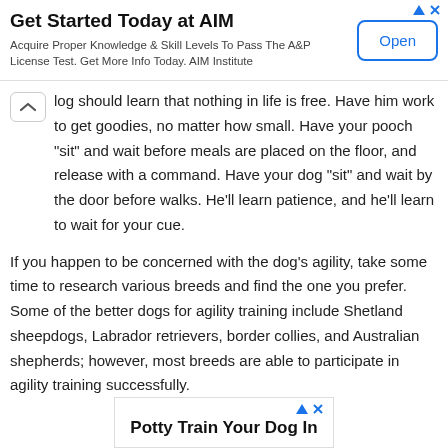[Figure (screenshot): Advertisement banner: 'Get Started Today at AIM' with subtitle 'Acquire Proper Knowledge & Skill Levels To Pass The A&P License Test. Get More Info Today. AIM Institute' and an Open button]
dog should learn that nothing in life is free. Have him work to get goodies, no matter how small. Have your pooch “sit” and wait before meals are placed on the floor, and release with a command. Have your dog “sit” and wait by the door before walks. He’ll learn patience, and he’ll learn to wait for your cue.
If you happen to be concerned with the dog’s agility, take some time to research various breeds and find the one you prefer. Some of the better dogs for agility training include Shetland sheepdogs, Labrador retrievers, border collies, and Australian shepherds; however, most breeds are able to participate in agility training successfully.
[Figure (screenshot): Advertisement banner at bottom: 'Potty Train Your Dog In ...' (partially visible)]